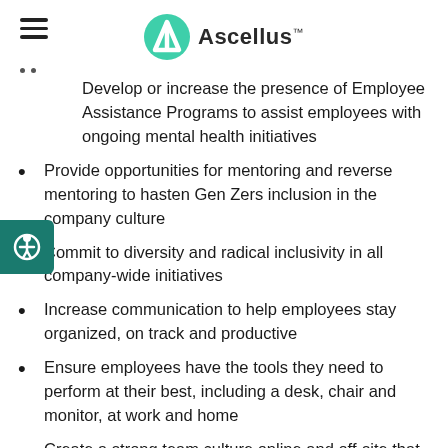Ascellus
Develop or increase the presence of Employee Assistance Programs to assist employees with ongoing mental health initiatives
Provide opportunities for mentoring and reverse mentoring to hasten Gen Zers inclusion in the company culture
Commit to diversity and radical inclusivity in all company-wide initiatives
Increase communication to help employees stay organized, on track and productive
Ensure employees have the tools they need to perform at their best, including a desk, chair and monitor, at work and home
Create a strong team culture online and off-site that includes games, challenges, activities and volunteer